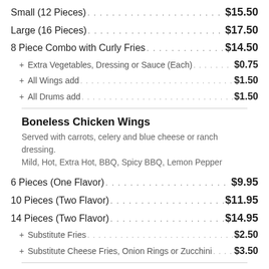Small (12 Pieces) . . . . . . . . . . . . . . . . . . . . . . . . . . . . . . . . . . . . . . $15.50
Large (16 Pieces) . . . . . . . . . . . . . . . . . . . . . . . . . . . . . . . . . . . . . . $17.50
8 Piece Combo with Curly Fries . . . . . . . . . . . . . . . . . . . . . . . $14.50
+ Extra Vegetables, Dressing or Sauce (Each) . . . . . . . . . $0.75
+ All Wings add . . . . . . . . . . . . . . . . . . . . . . . . . . . . . . . . . . . $1.50
+ All Drums add . . . . . . . . . . . . . . . . . . . . . . . . . . . . . . . . . . $1.50
Boneless Chicken Wings
Served with carrots, celery and blue cheese or ranch dressing. Mild, Hot, Extra Hot, BBQ, Spicy BBQ, Lemon Pepper
6 Pieces (One Flavor) . . . . . . . . . . . . . . . . . . . . . . . . . . . . . . . . $9.95
10 Pieces (Two Flavor) . . . . . . . . . . . . . . . . . . . . . . . . . . . . . $11.95
14 Pieces (Two Flavor) . . . . . . . . . . . . . . . . . . . . . . . . . . . . . $14.95
+ Substitute Fries . . . . . . . . . . . . . . . . . . . . . . . . . . . . . . . . $2.50
+ Substitute Cheese Fries, Onion Rings or Zucchini . . . . $3.50
PHILLY STYLE STEAK SANDWICHES
Traditional Steak $10.55